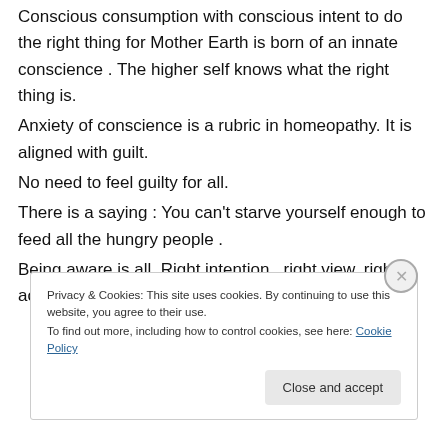Conscious consumption with conscious intent to do the right thing for Mother Earth is born of an innate conscience . The higher self knows what the right thing is.
Anxiety of conscience is a rubric in homeopathy. It is aligned with guilt.
No need to feel guilty for all.
There is a saying : You can't starve yourself enough to feed all the hungry people .
Being aware is all. Right intention , right view, right action. And compassion for yourself .
Privacy & Cookies: This site uses cookies. By continuing to use this website, you agree to their use.
To find out more, including how to control cookies, see here: Cookie Policy